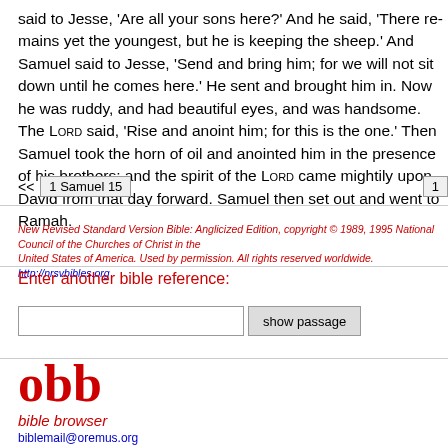said to Jesse, 'Are all your sons here?' And he said, 'There remains yet the youngest, but he is keeping the sheep.' And Samuel said to Jesse, 'Send and bring him; for we will not sit down until he comes here.' He sent and brought him in. Now he was ruddy, and had beautiful eyes, and was handsome. The LORD said, 'Rise and anoint him; for this is the one.' Then Samuel took the horn of oil and anointed him in the presence of his brothers; and the spirit of the LORD came mightily upon David from that day forward. Samuel then set out and went to Ramah.
<< 1 Samuel 15  |  1
New Revised Standard Version Bible: Anglicized Edition, copyright © 1989, 1995 National Council of the Churches of Christ in the United States of America. Used by permission. All rights reserved worldwide. http://nrsvbibles.org
Enter another bible reference:
show passage
obb bible browser biblemail@oremus.org v 2.9.2 30 June 2021